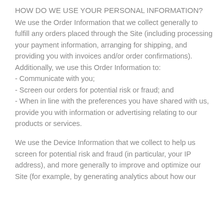HOW DO WE USE YOUR PERSONAL INFORMATION?
We use the Order Information that we collect generally to fulfill any orders placed through the Site (including processing your payment information, arranging for shipping, and providing you with invoices and/or order confirmations). Additionally, we use this Order Information to:
- Communicate with you;
- Screen our orders for potential risk or fraud; and
- When in line with the preferences you have shared with us, provide you with information or advertising relating to our products or services.
We use the Device Information that we collect to help us screen for potential risk and fraud (in particular, your IP address), and more generally to improve and optimize our Site (for example, by generating analytics about how our